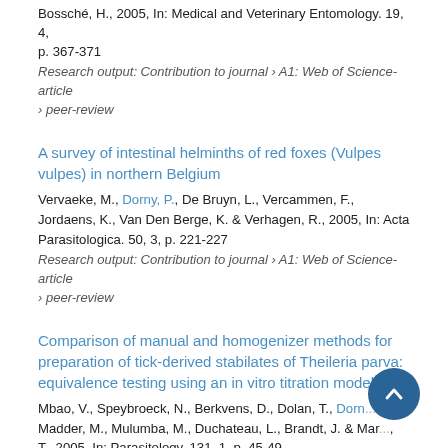Bossché, H., 2005, In: Medical and Veterinary Entomology. 19, 4, p. 367-371
Research output: Contribution to journal › A1: Web of Science-article › peer-review
A survey of intestinal helminths of red foxes (Vulpes vulpes) in northern Belgium
Vervaeke, M., Dorny, P., De Bruyn, L., Vercammen, F., Jordaens, K., Van Den Berge, K. & Verhagen, R., 2005, In: Acta Parasitologica. 50, 3, p. 221-227
Research output: Contribution to journal › A1: Web of Science-article › peer-review
Comparison of manual and homogenizer methods for preparation of tick-derived stabilates of Theileria parva: equivalence testing using an in vitro titration model
Mbao, V., Speybroeck, N., Berkvens, D., Dolan, T., Dorny, P., Madder, M., Mulumba, M., Duchateau, L., Brandt, J. & Marcotty, T., 2005, In: Parasitology. 131, 1, p. 45-49